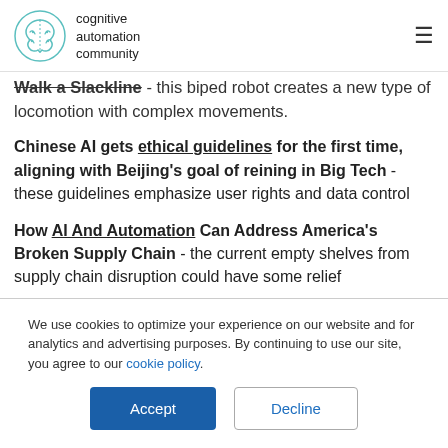cognitive automation community
Walk a Slackline - this biped robot creates a new type of locomotion with complex movements.
Chinese AI gets ethical guidelines for the first time, aligning with Beijing's goal of reining in Big Tech - these guidelines emphasize user rights and data control
How AI And Automation Can Address America's Broken Supply Chain - the current empty shelves from supply chain disruption could have some relief
We use cookies to optimize your experience on our website and for analytics and advertising purposes. By continuing to use our site, you agree to our cookie policy.